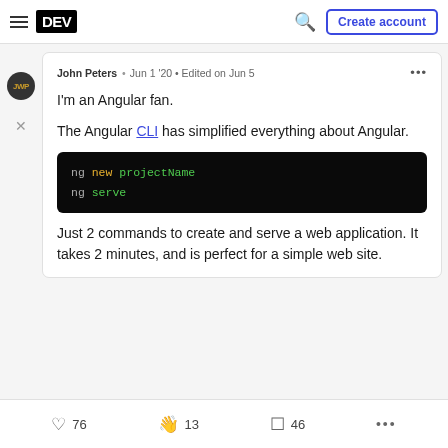DEV  [search icon]  Create account
John Peters • Jun 1 '20 • Edited on Jun 5
I'm an Angular fan.

The Angular CLI has simplified everything about Angular.
ng new projectName
ng serve
Just 2 commands to create and serve a web application. It takes 2 minutes, and is perfect for a simple web site.
76  13  46  ...